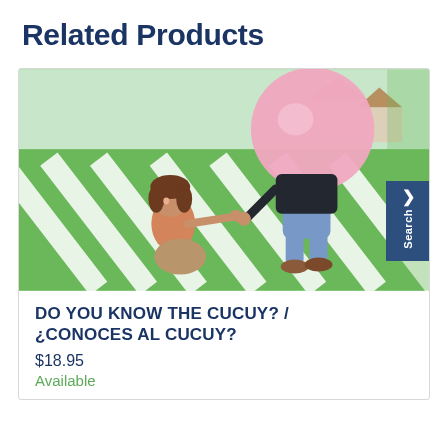Related Products
[Figure (illustration): Animated scene showing a girl sitting on steps reaching out, and a figure with a large pink round head running away, set in a cartoon neighborhood with green grass and white crosswalk stripes.]
DO YOU KNOW THE CUCUY? / ¿CONOCES AL CUCUY?
$18.95
Available